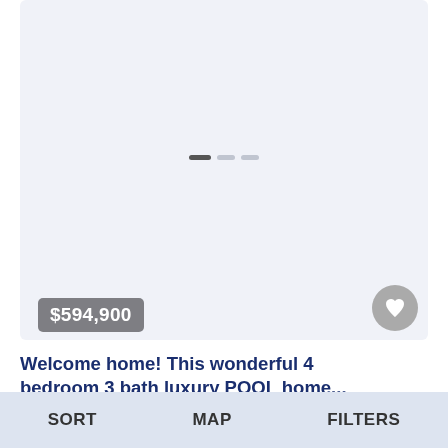[Figure (screenshot): Real estate listing photo placeholder area with light blue-gray background]
$594,900
Welcome home! This wonderful 4 bedroom 3 bath luxury POOL home...
Eloise , Winter Haven , Florida
4  3  Home For Sale
SORT   MAP   FILTERS